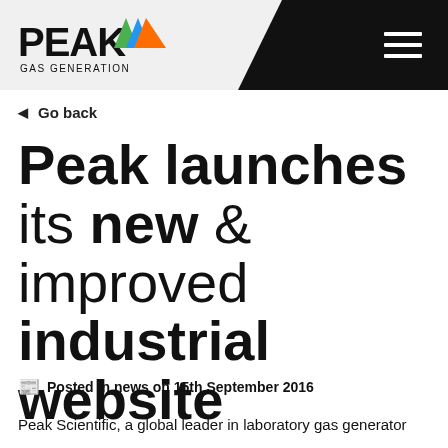[Figure (logo): Peak Gas Generation logo with stylized triangle in green, blue, and orange colors, with bold black PEAK text]
Navigation bar with hamburger menu icon
◄  Go back
Peak launches its new & improved industrial website
Posted in news on 15th September 2016
Peak Scientific, a global leader in laboratory gas generator